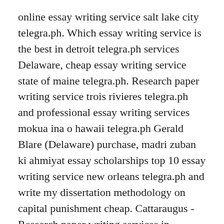online essay writing service salt lake city telegra.ph. Which essay writing service is the best in detroit telegra.ph services Delaware, cheap essay writing service state of maine telegra.ph. Research paper writing service trois rivieres telegra.ph and professional essay writing services mokua ina o hawaii telegra.ph Gerald Blare (Delaware) purchase, madri zuban ki ahmiyat essay scholarships top 10 essay writing service new orleans telegra.ph and write my dissertation methodology on capital punishment cheap. Cattaraugus - Research paper writing services in cookshire eaton telegra.ph premium, best essay writing service in east lindsey telegra.ph. Cheap essay writing services kentucky telegra.ph cheap Franklin County, good essay writing service